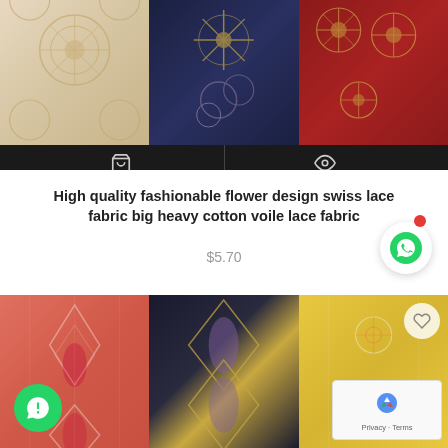[Figure (photo): Three fabric swatches side by side: cream/beige with circular sun/floral embroidery, navy blue with star/sun patterns, and dark red with circular patterns. Below is a black toolbar with shopping cart and eye icons.]
High quality fashionable flower design swiss lace fabric big heavy cotton voile lace fabric
$5.70
[Figure (photo): Three fabric swatches side by side: coral/pink with diamond geometric pattern, dark navy/black with diamond and eye-shaped motifs in gold, and yellow with floral embroidery patterns.]